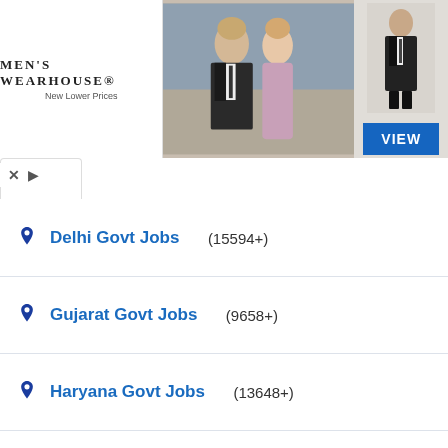[Figure (photo): Men's Wearhouse advertisement banner with couple in formal wear and a man in suit on the right, with a VIEW button]
Delhi Govt Jobs (15594+)
Gujarat Govt Jobs (9658+)
Haryana Govt Jobs (13648+)
HP Govt Jobs (12649+)
Karnataka Govt Jobs (14568+)
Kerala Govt Jobs (15956+)